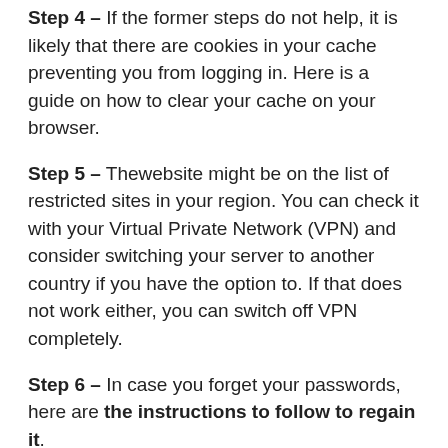Step 4 – If the former steps do not help, it is likely that there are cookies in your cache preventing you from logging in. Here is a guide on how to clear your cache on your browser.
Step 5 – Thewebsite might be on the list of restricted sites in your region. You can check it with your Virtual Private Network (VPN) and consider switching your server to another country if you have the option to. If that does not work either, you can switch off VPN completely.
Step 6 – In case you forget your passwords, here are the instructions to follow to regain it.
Step 7 – If nothing else works, please contact us via our mailbox or our phone number. We will be